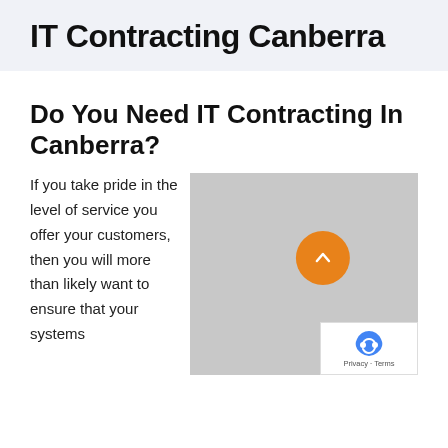IT Contracting Canberra
Do You Need IT Contracting In Canberra?
If you take pride in the level of service you offer your customers, then you will more than likely want to ensure that your systems
[Figure (map): Google Maps embed showing a location in Canberra, with a reCAPTCHA badge in the bottom-right corner and an orange scroll-to-top button overlaid in the center.]